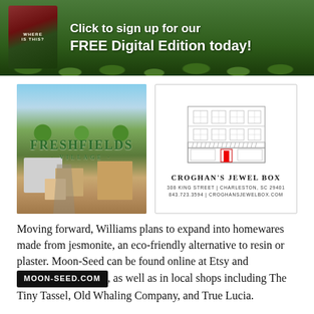[Figure (illustration): Top banner advertisement: green nature background with lily pads, a book cover on the left showing 'Where Is This?', and bold white text 'Click to sign up for our FREE Digital Edition today!']
[Figure (photo): Freshfields Village advertisement - aerial photo of shopping village with green trees and 'Freshfields Village' logo overlay]
[Figure (illustration): Croghan's Jewel Box advertisement - line drawing of a storefront building with text: CROGHAN'S JEWEL BOX, 308 KING STREET | CHARLESTON, SC 29401, 843.723.3594 | CROGHANSJEWELBOX.COM]
Moving forward, Williams plans to expand into homewares made from jesmonite, an eco-friendly alternative to resin or plaster. Moon-Seed can be found online at Etsy and MOON-SEED.COM, as well as in local shops including The Tiny Tassel, Old Whaling Company, and True Lucia.